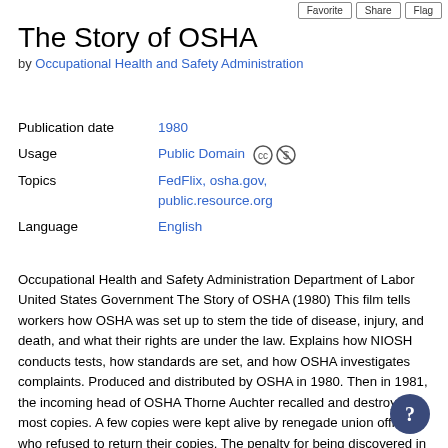Favorite | Share | Flag
The Story of OSHA
by Occupational Health and Safety Administration
| Field | Value |
| --- | --- |
| Publication date | 1980 |
| Usage | Public Domain |
| Topics | FedFlix, osha.gov, public.resource.org |
| Language | English |
Occupational Health and Safety Administration Department of Labor United States Government The Story of OSHA (1980) This film tells workers how OSHA was set up to stem the tide of disease, injury, and death, and what their rights are under the law. Explains how NIOSH conducts tests, how standards are set, and how OSHA investigates complaints. Produced and distributed by OSHA in 1980. Then in 1981, the incoming head of OSHA Thorne Auchter recalled and destroyed most copies. A few copies were kept alive by renegade union officials who refused to return their copies. The penalty for being discovered in possession of one of these films was